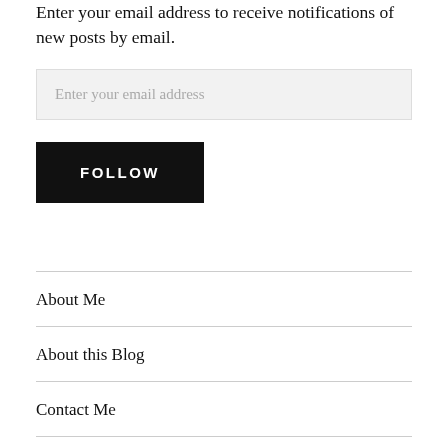Enter your email address to receive notifications of new posts by email.
[Figure (other): Email input field with placeholder text 'Enter your email address']
[Figure (other): Black FOLLOW button]
About Me
About this Blog
Contact Me
[Figure (other): Social media icons row: Twitter, GitHub, LinkedIn, Flickr, RSS]